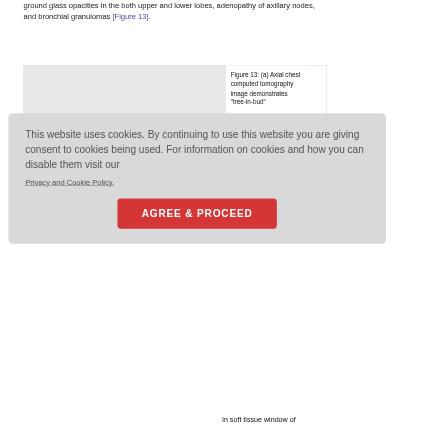ground glass opacities in the both upper and lower lobes, adenopathy of axillary nodes, and bronchial granulomas [Figure 13].
[Figure (photo): Figure 13 image placeholder — axial chest CT image (greyed out / not fully visible)]
Figure 13: (a) Axial chest computed tomography image demonstrates "tree-in-bud" ... in soft tissue window of
This website uses cookies. By continuing to use this website you are giving consent to cookies being used. For information on cookies and how you can disable them visit our
Privacy and Cookie Policy.
AGREE & PROCEED